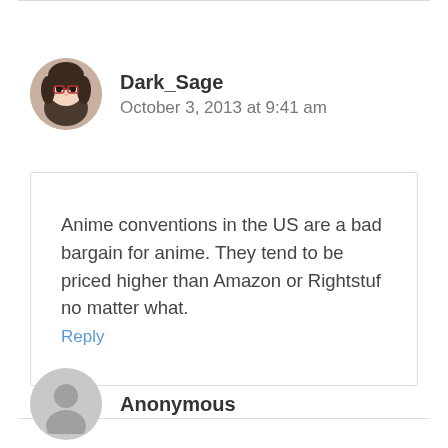Dark_Sage
October 3, 2013 at 9:41 am
Anime conventions in the US are a bad bargain for anime. They tend to be priced higher than Amazon or Rightstuf no matter what.
Reply
Anonymous